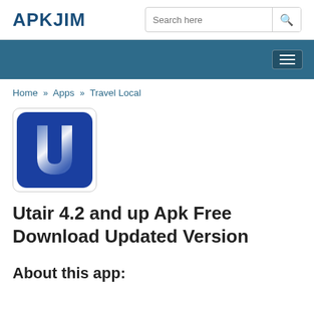APKJIM
[Figure (screenshot): Search bar with placeholder text 'Search here' and magnifying glass icon]
[Figure (other): Navigation bar with hamburger menu button on dark teal background]
Home » Apps » Travel Local
[Figure (logo): Utair app icon: blue square with rounded corners containing a white stylized letter U]
Utair 4.2 and up Apk Free Download Updated Version
About this app: